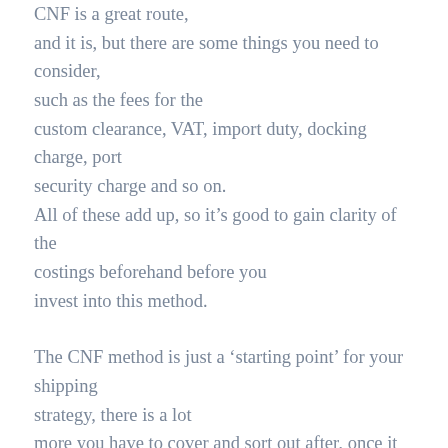CNF is a great route, and it is, but there are some things you need to consider, such as the fees for the custom clearance, VAT, import duty, docking charge, port security charge and so on. All of these add up, so it’s good to gain clarity of the costings beforehand before you invest into this method.
The CNF method is just a ‘starting point’ for your shipping strategy, there is a lot more you have to cover and sort out after, once it gets to the port. In this case, you may want to use a freight forwarding agent. These companies take care of pretty much the whole process and will deliver your items to the